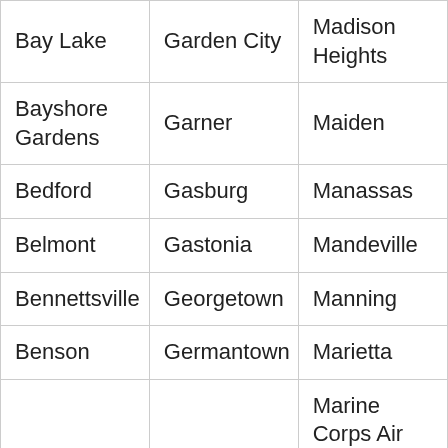| Bay Lake | Garden City | Madison Heights |
| Bayshore Gardens | Garner | Maiden |
| Bedford | Gasburg | Manassas |
| Belmont | Gastonia | Mandeville |
| Bennettsville | Georgetown | Manning |
| Benson | Germantown | Marietta |
| Berea | Gibsonville | Marine Corps Air Station Cherry Point |
| Bessomer City | Gilbert | Marion |